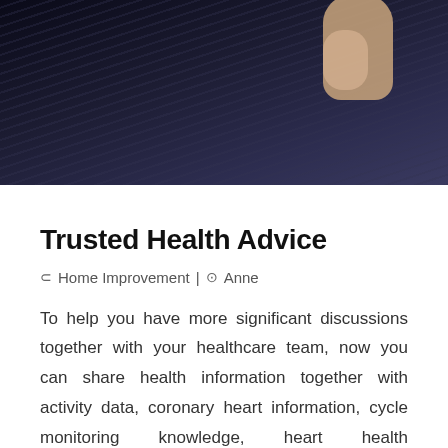[Figure (photo): Dark background photo showing a person in a dark jacket/shirt, with a hand visible at the upper right portion of the image.]
Trusted Health Advice
⊂ Home Improvement | ⊙ Anne
To help you have more significant discussions together with your healthcare team, now you can share health information together with activity data, coronary heart information, cycle monitoring knowledge, heart health notifications, and falls. Having a second set of eyes on your health data may give you peace